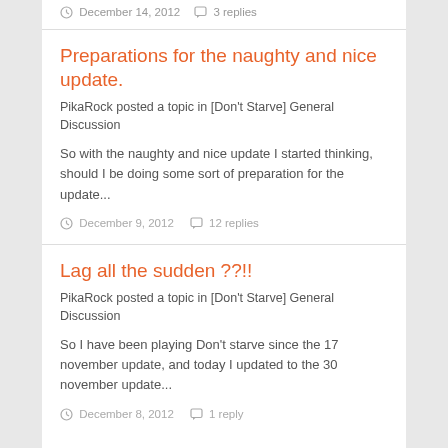December 14, 2012   3 replies
Preparations for the naughty and nice update.
PikaRock posted a topic in [Don't Starve] General Discussion
So with the naughty and nice update I started thinking, should I be doing some sort of preparation for the update...
December 9, 2012   12 replies
Lag all the sudden ??!!
PikaRock posted a topic in [Don't Starve] General Discussion
So I have been playing Don't starve since the 17 november update, and today I updated to the 30 november update...
December 8, 2012   1 reply